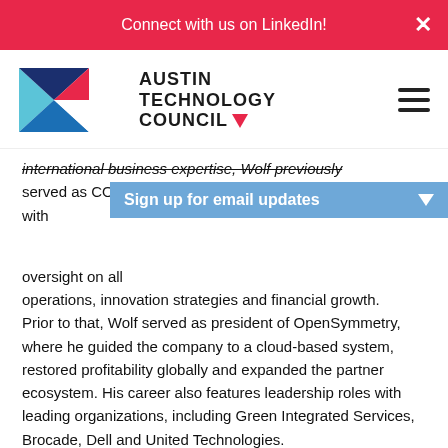Connect with us on LinkedIn!
[Figure (logo): Austin Technology Council logo with geometric arrow shapes in blue, red, and dark navy, with text AUSTIN TECHNOLOGY COUNCIL]
...international business expertise, Wolf previously served as COO with... oversight on all... operations, innovation strategies and financial growth. Prior to that, Wolf served as president of OpenSymmetry, where he guided the company to a cloud-based system, restored profitability globally and expanded the partner ecosystem. His career also features leadership roles with leading organizations, including Green Integrated Services, Brocade, Dell and United Technologies.
Wolf holds a Master of Business Administration in Financ...